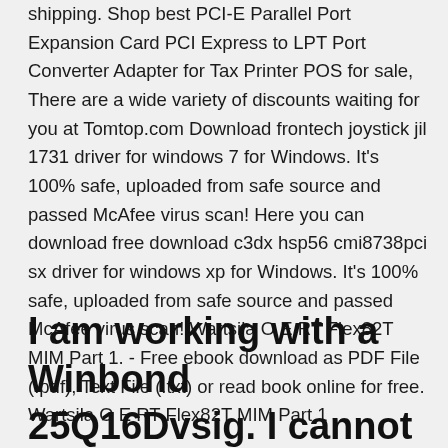shipping. Shop best PCI-E Parallel Port Expansion Card PCI Express to LPT Port Converter Adapter for Tax Printer POS for sale, There are a wide variety of discounts waiting for you at Tomtop.com Download frontech joystick jil 1731 driver for windows 7 for Windows. It's 100% safe, uploaded from safe source and passed McAfee virus scan! Here you can download free download c3dx hsp56 cmi8738pci sx driver for windows xp for Windows. It's 100% safe, uploaded from safe source and passed McAfee virus scan! Wartsila O E RT Flex82T MIM Part 1. - Free ebook download as PDF File (.pdf), Text File (.txt) or read book online for free. Wartsila O E RT Flex82T MIM Part 1
I am working with a Winbond 25Q16Dvsig. I cannot find this chip listed anywhere in the CH341a